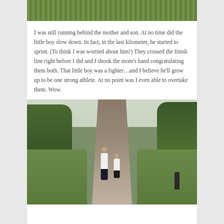[Figure (photo): Partial photo at top of page showing green grass, cropped]
I was still running behind the mother and son. At no time did the little boy slow down. In fact, in the last kilometer, he started to sprint. (To think I was worried about him!) They crossed the finish line right before I did and I shook the mom's hand congratulating them both. That little boy was a fighter…and I believe he'll grow up to be one strong athlete. At no point was I even able to overtake them. Wow.
[Figure (photo): Outdoor photo of a woman and young boy running together on a brick pathway, surrounded by green trees and grass. Another runner visible ahead in the distance. A bollard visible on the right side.]